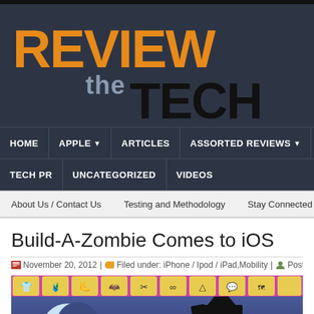[Figure (logo): Review the Tech website logo on dark blue-gray background. REVIEW in orange, 'the' in gray, TECH in black.]
HOME | APPLE | ARTICLES | ASSORTED REVIEWS | GA | TECH PR | UNCATEGORIZED | VIDEOS
About Us / Contact Us   Testing and Methodology   Stay Connected
Build-A-Zombie Comes to iOS
November 20, 2012 | Filed under: iPhone / Ipod / iPad,Mobility | Posted by: Kris
[Figure (screenshot): Screenshot of Build-A-Zombie iOS game showing zombie character creation interface with purple top bar containing yellow icon tiles for clothing/accessories, and a dark blue scene with a moon and zombie figure silhouette.]